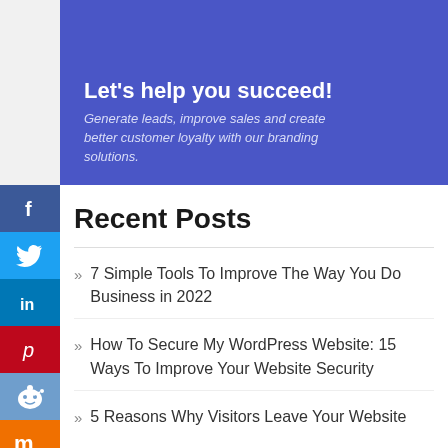[Figure (illustration): Blue banner with text 'Let's help you succeed!' and subtitle 'Generate leads, improve sales and create better customer loyalty with our branding solutions.']
Recent Posts
7 Simple Tools To Improve The Way You Do Business in 2022
How To Secure My WordPress Website: 15 Ways To Improve Your Website Security
5 Reasons Why Visitors Leave Your Website